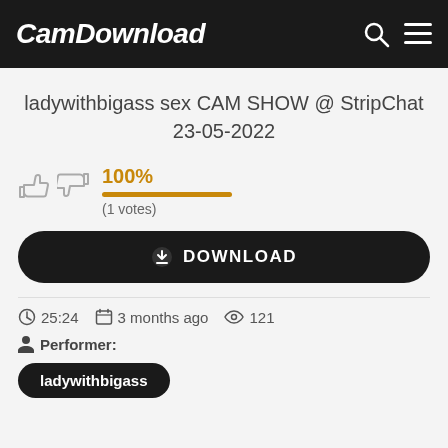CamDownload
ladywithbigass sex CAM SHOW @ StripChat 23-05-2022
100% (1 votes)
DOWNLOAD
25:24  3 months ago  121
Performer:
ladywithbigass